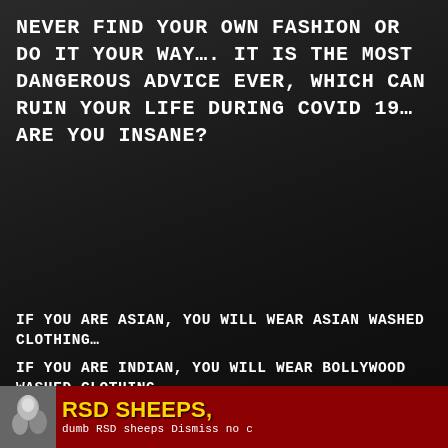NEVER FIND YOUR OWN FASHION OR DO IT YOUR WAY…. IT IS THE MOST DANGEROUS ADVICE EVER, WHICH CAN RUIN YOUR LIFE DURING COVID 19… ARE YOU INSANE?
IF YOU ARE ASIAN, YOU WILL WEAR ASIAN WASHED CLOTHING…
IF YOU ARE INDIAN, YOU WILL WEAR BOLLYWOOD WASHED CLOTHING….
Why would you dismiss? Sheeps dismiss…
[Figure (other): Red banner with profile photo showing two people, bold yellow text reading 'RSD SHEEPS,' and smaller white text 'dumb RSD sheeps Dismiss no c']